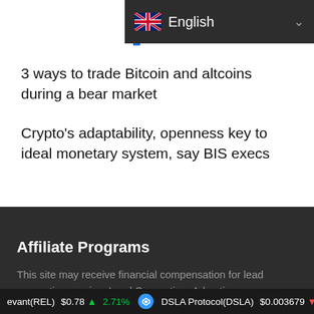[Figure (screenshot): Language selector dropdown showing English with UK flag icon on dark background]
3 ways to trade Bitcoin and altcoins during a bear market
Crypto's adaptability, openness key to ideal monetary system, say BIS execs
Affiliate Programs
This site may receive financial compensation for lead generation service. Lead Generation: Advertiser pays a specified amount for each user that requests consultation via phone or fills out a form on the website requesting information on a product or service. Further
evant(REL) $0.78 ↑ 2.71%  DSLA Protocol(DSLA) $0.003679 ↓ -6.8